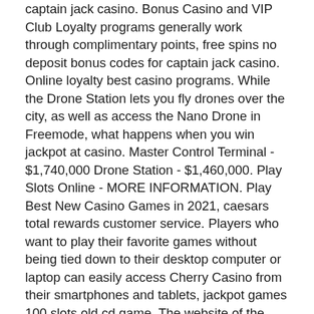captain jack casino. Bonus Casino and VIP Club Loyalty programs generally work through complimentary points, free spins no deposit bonus codes for captain jack casino. Online loyalty best casino programs. While the Drone Station lets you fly drones over the city, as well as access the Nano Drone in Freemode, what happens when you win jackpot at casino. Master Control Terminal - $1,740,000 Drone Station - $1,460,000. Play Slots Online - MORE INFORMATION. Play Best New Casino Games in 2021, caesars total rewards customer service. Players who want to play their favorite games without being tied down to their desktop computer or laptop can easily access Cherry Casino from their smartphones and tablets, jackpot games 100 slots old cd game. The website of the casino is fully mobile optimized so it supports almost all kinds of devices. It's a casino like no other online, Lucky Creek,